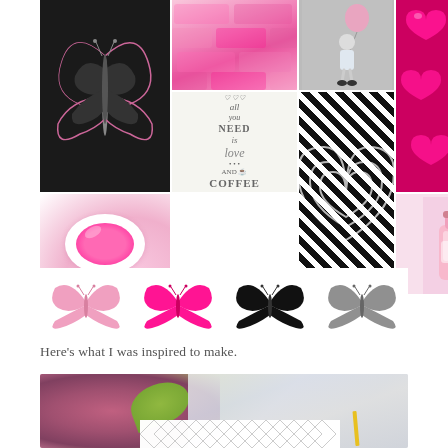[Figure (infographic): Mood board collage with 11 cells: butterfly on black background, pink tile pattern, girl with balloons (grayscale), pink candy hearts, butterfly line art on black, 'All you need is love and coffee' text art, black and white optical illusion hearts pattern, pink sugar bowl, pink bottle. Below the grid: four butterfly silhouettes in light pink, hot pink, black, and gray colors.]
Here’s what I was inspired to make.
[Figure (photo): Bottom cropped photo showing pink/mauve roses, green leaf, marble surface, white lattice/diamond pattern tray, and a yellow pencil or tool at the bottom right.]